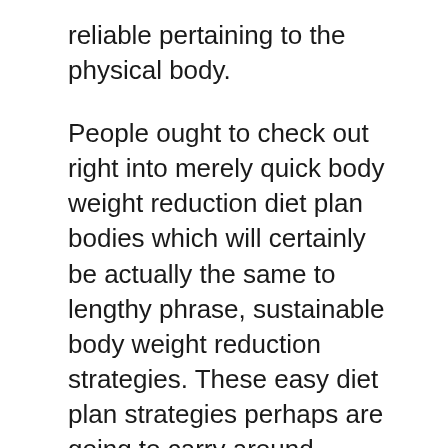reliable pertaining to the physical body.
People ought to check out right into merely quick body weight reduction diet plan bodies which will certainly be actually the same to lengthy phrase, sustainable body weight reduction strategies. These easy diet plan strategies perhaps are going to carry around irritation as quickly as a personal restores all the body weight after they give up whichever system crash or even gimmick body weight reduction planning. These times, several people anticipate to locate a fantastic swift diet plan course which will definitely assist along with body weight reduction rapidly. Obtaining adequate sleeping ought to be actually a section of a best rapid body weight reduction diet plan